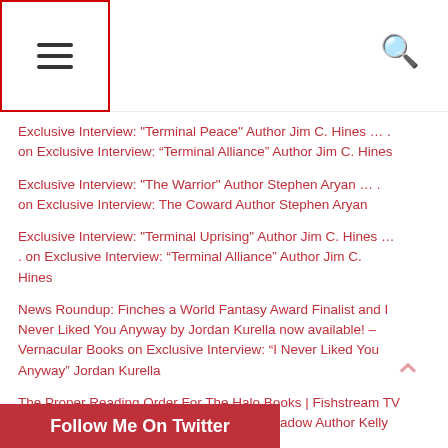Menu | Search
Exclusive Interview: "Terminal Peace" Author Jim C. Hines … . on Exclusive Interview: “Terminal Alliance” Author Jim C. Hines
Exclusive Interview: "The Warrior" Author Stephen Aryan … . on Exclusive Interview: The Coward Author Stephen Aryan
Exclusive Interview: "Terminal Uprising" Author Jim C. Hines … . on Exclusive Interview: “Terminal Alliance” Author Jim C. Hines
News Roundup: Finches a World Fantasy Award Finalist and I Never Liked You Anyway by Jordan Kurella now available! – Vernacular Books on Exclusive Interview: “I Never Liked You Anyway” Jordan Kurella
The Proper Reading Order For The Halo Books | Fishstream TV on Exclusive Interview: Halo Smoke And Shadow Author Kelly Gay
Follow Me On Twitter